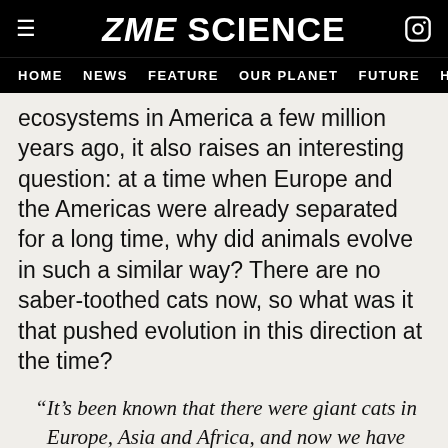ZME SCIENCE
HOME  NEWS  FEATURE  OUR PLANET  FUTURE  HEALT
ecosystems in America a few million years ago, it also raises an interesting question: at a time when Europe and the Americas were already separated for a long time, why did animals evolve in such a similar way? There are no saber-toothed cats now, so what was it that pushed evolution in this direction at the time?
“It’s been known that there were giant cats in Europe, Asia and Africa, and now we have our own giant saber-toothed cat in North America during this period as well,” he said.